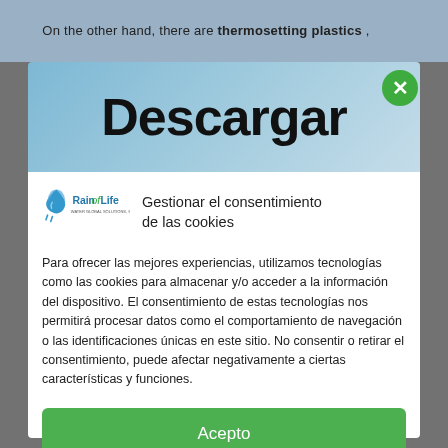On the other hand, there are thermosetting plastics ,
Descargar
Gestionar el consentimiento de las cookies
Para ofrecer las mejores experiencias, utilizamos tecnologías como las cookies para almacenar y/o acceder a la información del dispositivo. El consentimiento de estas tecnologías nos permitirá procesar datos como el comportamiento de navegación o las identificaciones únicas en este sitio. No consentir o retirar el consentimiento, puede afectar negativamente a ciertas características y funciones.
Acepto
Denegar